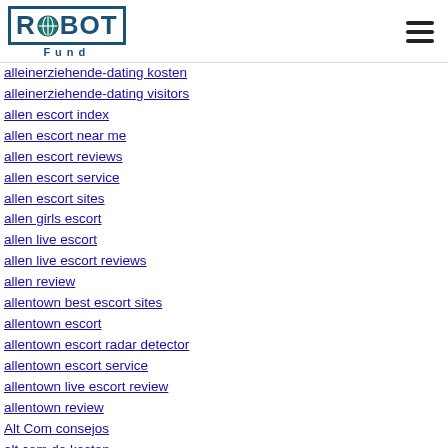ROIBOT Fund
alleinerziehende-dating kosten
alleinerziehende-dating visitors
allen escort index
allen escort near me
allen escort reviews
allen escort service
allen escort sites
allen girls escort
allen live escort
allen live escort reviews
allen review
allentown best escort sites
allentown escort
allentown escort radar detector
allentown escort service
allentown live escort review
allentown review
Alt Com consejos
alt com de kosten
alt com de review
alt com fr reviews
alt com online dating
alt com pl profil
Alt Com randki app
Alt Com visitantes